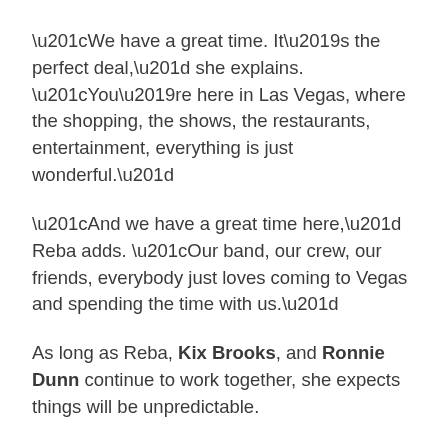“We have a great time. It’s the perfect deal,” she explains. “You’re here in Las Vegas, where the shopping, the shows, the restaurants, entertainment, everything is just wonderful.”
“And we have a great time here,” Reba adds. “Our band, our crew, our friends, everybody just loves coming to Vegas and spending the time with us.”
As long as Reba, Kix Brooks, and Ronnie Dunn continue to work together, she expects things will be unpredictable.
“When we first started out,” she laughs, “I said, ‘Okay, here’s what you’re gonna say. And here’s what you’re gonna say. And then I’ll say…’ And they